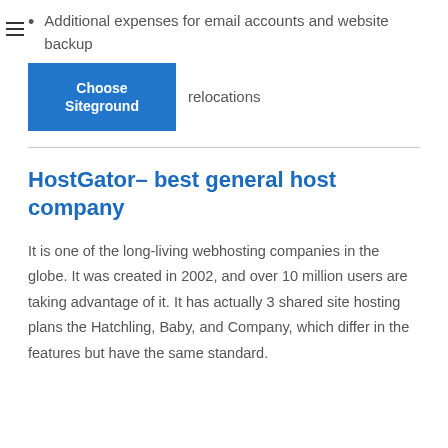Additional expenses for email accounts and website backup
[Figure (other): Blue 'Choose Siteground' button]
relocations
HostGator– best general host company
It is one of the long-living webhosting companies in the globe. It was created in 2002, and over 10 million users are taking advantage of it. It has actually 3 shared site hosting plans the Hatchling, Baby, and Company, which differ in the features but have the same standard.